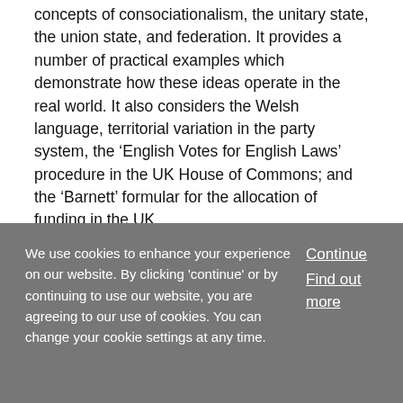concepts of consociationalism, the unitary state, the union state, and federation. It provides a number of practical examples which demonstrate how these ideas operate in the real world. It also considers the Welsh language, territorial variation in the party system, the 'English Votes for English Laws' procedure in the UK House of Commons; and the 'Barnett' formular for the allocation of funding in the UK.
Chapter
24. Globalization and the Nation-State
We use cookies to enhance your experience on our website. By clicking 'continue' or by continuing to use our website, you are agreeing to our use of cookies. You can change your cookie settings at any time.